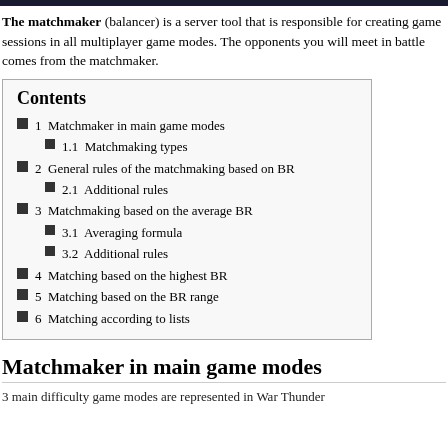The matchmaker (balancer) is a server tool that is responsible for creating game sessions in all multiplayer game modes. The opponents you will meet in battle comes from the matchmaker.
Contents
1  Matchmaker in main game modes
1.1  Matchmaking types
2  General rules of the matchmaking based on BR
2.1  Additional rules
3  Matchmaking based on the average BR
3.1  Averaging formula
3.2  Additional rules
4  Matching based on the highest BR
5  Matching based on the BR range
6  Matching according to lists
Matchmaker in main game modes
3 main difficulty game modes are represented in War Thunder...